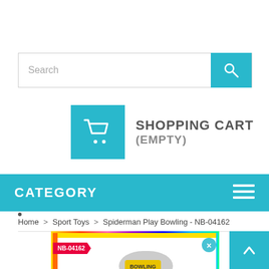[Figure (screenshot): Search bar with text placeholder 'Search' and a teal search button with magnifying glass icon]
SHOPPING CART
(EMPTY)
CATEGORY
Home > Sport Toys > Spiderman Play Bowling - NB-04162
[Figure (photo): Product box image for Spiderman Play Bowling NB-04162 with rainbow border and NB-04162 badge]